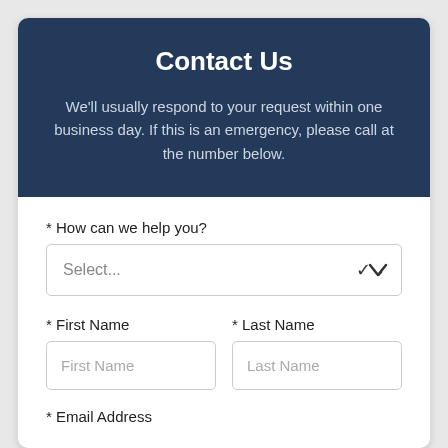Contact Us
We'll usually respond to your request within one business day. If this is an emergency, please call at the number below.
* How can we help you?
Select...
* First Name
* Last Name
* Email Address